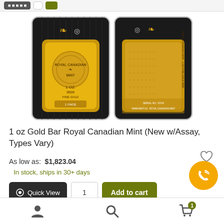[Figure (photo): Two views of a 1 oz Royal Canadian Mint gold bar in assay packaging — front showing the gold bar face with maple leaf and RCM logo, and back showing certification details, both in black/dark packaging]
1 oz Gold Bar Royal Canadian Mint (New w/Assay, Types Vary)
As low as: $1,823.04
In stock, ships in 30+ days